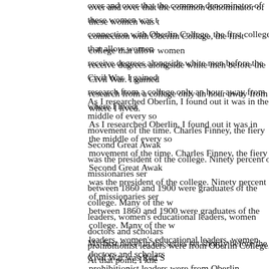over and over that the common denominator of these women was their connection with Oberlin College, the first college that allow women to receive degrees alongside white men before the Civil War. I gained research from a college only an hour away from where I lived.
As I researched Oberlin, I found out it was in the middle of every social movement of the time. Charles Finney, the fiery Second Great Awakening was the president of the college. Ninety percent of missionaries sent between 1860 and 1900 were graduates of the college. Many of the women leaders, women's educational leaders, women doctors and scholars and prohibitionist leaders were from Oberlin College. At that point, I knew I told their stories in my novels. I decided to write three stories covering three roommates.
My first novel in the series set shortly before the Civil War was Red Soils, the story of America Leighton, a woman abolitionist who was studying to be a missionary in China. She decided she couldn't make a stand for the Gospel if she confronted her father to free his slaves. To make things more interesting, her interest has plans of his own in Kentucky. The results were explosive as you can imagine.
The second in the series, released August first, is Lost in the Storm before the Civil War. Levana Faloon is determined to be an independent woman who